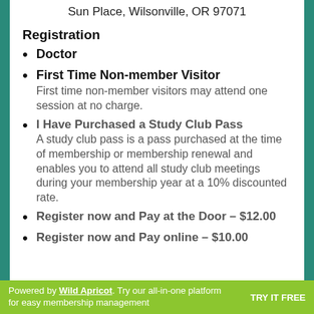Sun Place, Wilsonville, OR 97071
Registration
Doctor
First Time Non-member Visitor
First time non-member visitors may attend one session at no charge.
I Have Purchased a Study Club Pass
A study club pass is a pass purchased at the time of membership or membership renewal and enables you to attend all study club meetings during your membership year at a 10% discounted rate.
Register now and Pay at the Door – $12.00
Register now and Pay online – $10.00
Powered by Wild Apricot. Try our all-in-one platform for easy membership management  TRY IT FREE